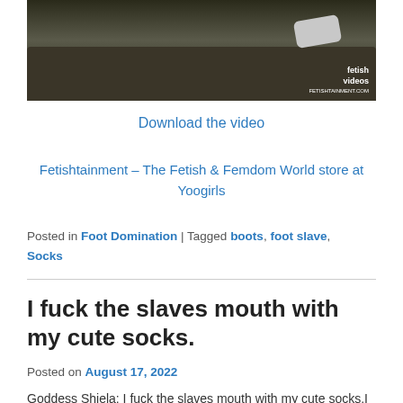[Figure (photo): Photo of a couch with what appears to be a person's feet/socks, with a 'fetish videos' watermark in the bottom right corner]
Download the video
Fetishtainment – The Fetish & Femdom World store at Yoogirls
Posted in Foot Domination | Tagged boots, foot slave, Socks
I fuck the slaves mouth with my cute socks.
Posted on August 17, 2022
Goddess Shiela: I fuck the slaves mouth with my cute socks.I take off my boots and let the slave lick my socks slave first. Then my feet become...